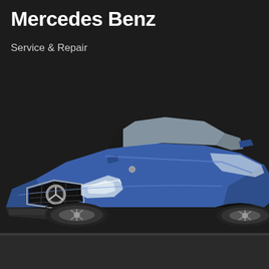Mercedes Benz
Service & Repair
[Figure (illustration): Blue Mercedes-Benz C-Class coupe shown from front three-quarter angle on dark background, featuring the distinctive three-pointed star grille emblem, LED headlights, and chrome accents]
BMW